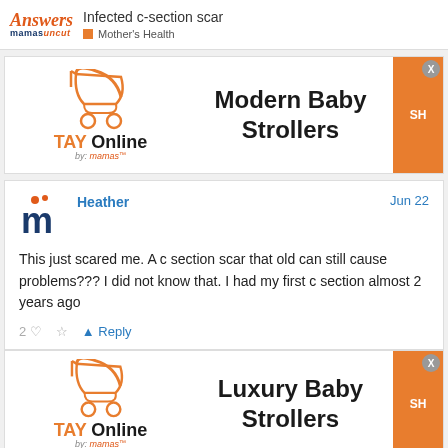Infected c-section scar | Mother's Health — Answers mamasuncut
[Figure (advertisement): TAY Online by mamas advertisement banner for Modern Baby Strollers with orange SHOP button and close X]
This just scared me. A c section scar that old can still cause problems??? I did not know that. I had my first c section almost 2 years ago
[Figure (advertisement): TAY Online by mamas advertisement banner for Luxury Baby Strollers with orange SHOP button and close X]